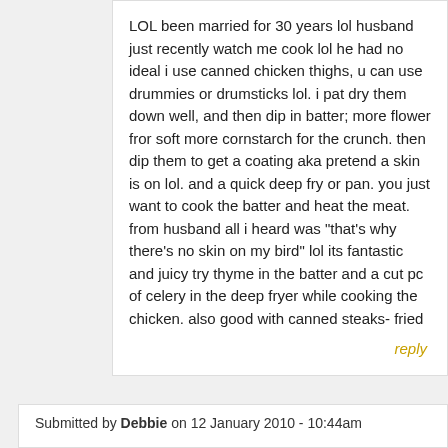LOL been married for 30 years lol husband just recently watch me cook lol he had no ideal i use canned chicken thighs, u can use drummies or drumsticks lol. i pat dry them down well, and then dip in batter; more flower fror soft more cornstarch for the crunch. then dip them to get a coating aka pretend a skin is on lol. and a quick deep fry or pan. you just want to cook the batter and heat the meat. from husband all i heard was "that's why there's no skin on my bird" lol its fantastic and juicy try thyme in the batter and a cut pc of celery in the deep fryer while cooking the chicken. also good with canned steaks- fried
reply
Submitted by Debbie on 12 January 2010 - 10:44am